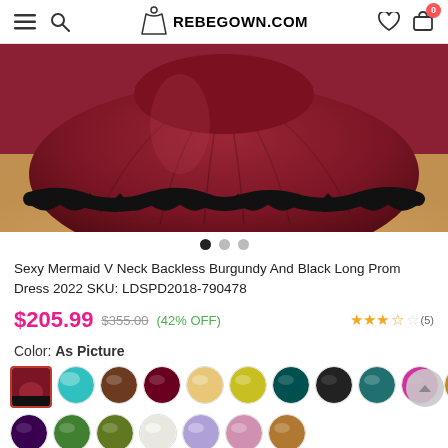REBEGOWN.COM
[Figure (photo): Close-up photo of a burgundy (dark red) mermaid prom dress skirt with black lace trim along the hem, spread out wide. The dress fabric is gathered/pleated showing a full skirt. Background shows a light wooden floor.]
Sexy Mermaid V Neck Backless Burgundy And Black Long Prom Dress 2022 SKU: LDSPD2018-790478
$205.99  $355.00  (42% OFF)
Color: As Picture